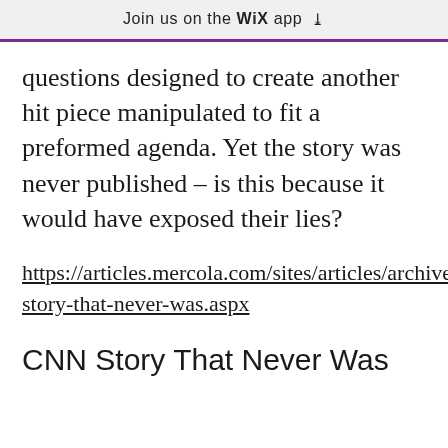Join us on the WiX app ↓
questions designed to create another hit piece manipulated to fit a preformed agenda. Yet the story was never published – is this because it would have exposed their lies?
https://articles.mercola.com/sites/articles/archive/2021/09/16/cnn-story-that-never-was.aspx
CNN Story That Never Was